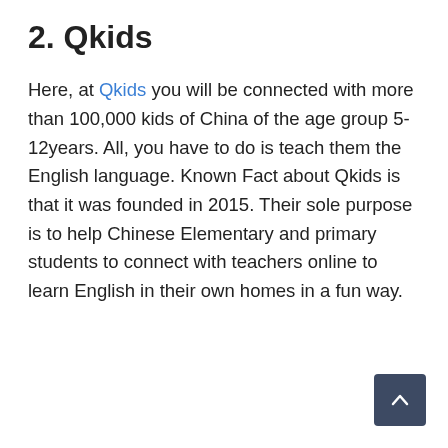2. Qkids
Here, at Qkids you will be connected with more than 100,000 kids of China of the age group 5-12years. All, you have to do is teach them the English language. Known Fact about Qkids is that it was founded in 2015. Their sole purpose is to help Chinese Elementary and primary students to connect with teachers online to learn English in their own homes in a fun way.